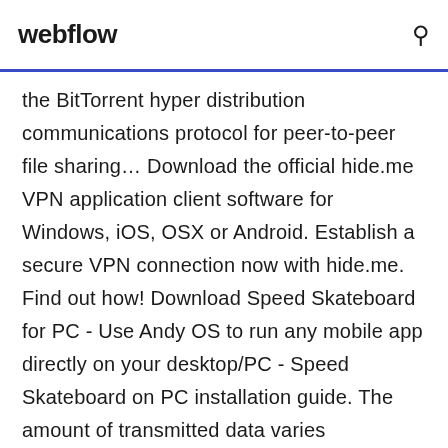webflow
the BitTorrent hyper distribution communications protocol for peer-to-peer file sharing… Download the official hide.me VPN application client software for Windows, iOS, OSX or Android. Establish a secure VPN connection now with hide.me. Find out how! Download Speed Skateboard for PC - Use Andy OS to run any mobile app directly on your desktop/PC - Speed Skateboard on PC installation guide. The amount of transmitted data varies depending on the bandwidth of the Internet connection. NetMetr tests the download and upload capacity of your Internet connection for about 20 seconds, with the fastest available speed. Android versions